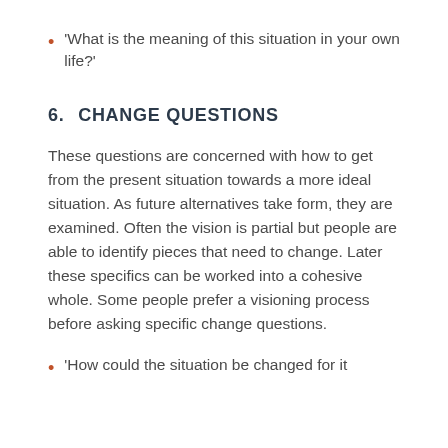'What is the meaning of this situation in your own life?'
6.  CHANGE QUESTIONS
These questions are concerned with how to get from the present situation towards a more ideal situation. As future alternatives take form, they are examined. Often the vision is partial but people are able to identify pieces that need to change. Later these specifics can be worked into a cohesive whole. Some people prefer a visioning process before asking specific change questions.
'How could the situation be changed for it